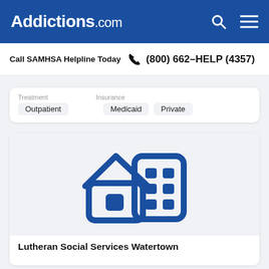Addictions.com
Call SAMHSA Helpline Today  (800) 662-HELP (4357)
Treatment: Outpatient  |  Insurance: Medicaid  Private
[Figure (illustration): Icon showing a house and a building in dark blue, representing a treatment facility or residential program.]
Lutheran Social Services Watertown